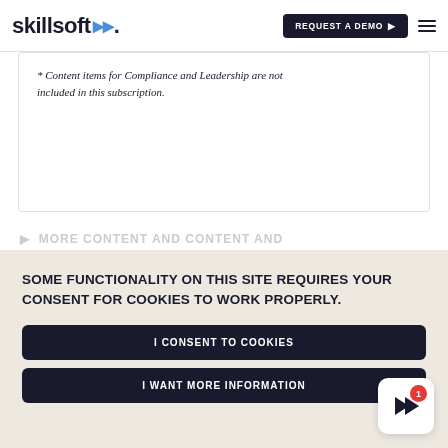skillsoft | REQUEST A DEMO
* Content items for Compliance and Leadership are not included in this subscription.
SOME FUNCTIONALITY ON THIS SITE REQUIRES YOUR CONSENT FOR COOKIES TO WORK PROPERLY.
I CONSENT TO COOKIES
I WANT MORE INFORMATION